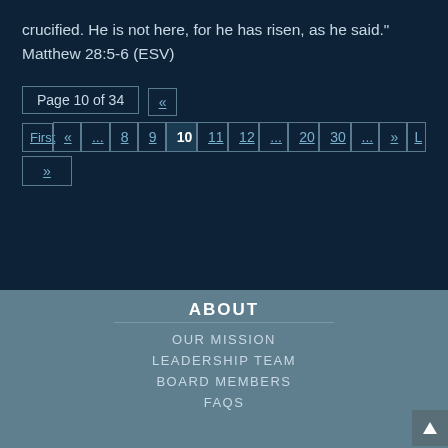crucified. He is not here, for he has risen, as he said." Matthew 28:5-6 (ESV)
Page 10 of 34 | « | First | « | ... | 8 | 9 | 10 | 11 | 12 | ... | 20 | 30 | ... | » | L | »
ABOUT
OUR MISSION
LEADERSHIP TEAM
BOARD MEMBERS
FAQS